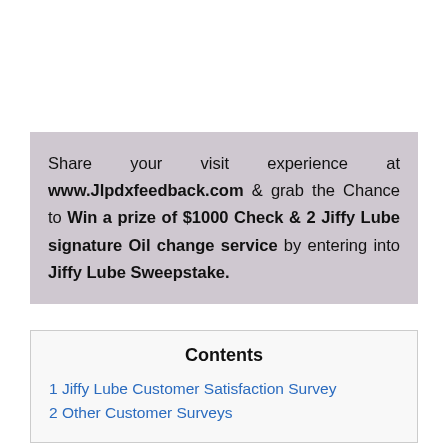Share your visit experience at www.Jlpdxfeedback.com & grab the Chance to Win a prize of $1000 Check & 2 Jiffy Lube signature Oil change service by entering into Jiffy Lube Sweepstake.
Contents
1 Jiffy Lube Customer Satisfaction Survey
2 Other Customer Surveys